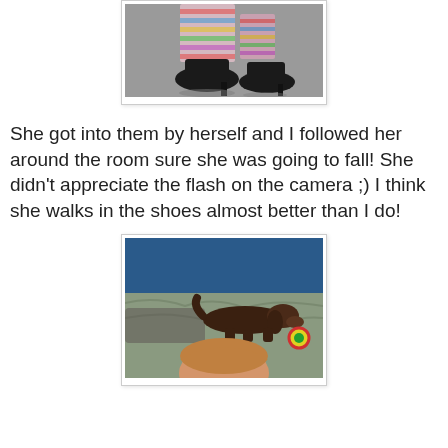[Figure (photo): Close-up photo of feet wearing black heeled shoes with colorful patterned socks/tights on a gray floor]
She got into them by herself and I followed her around the room sure she was going to fall! She didn't appreciate the flash on the camera ;) I think she walks in the shoes almost better than I do!
[Figure (photo): Photo of a small dark dachshund dog on a gray/green blanket against a blue wall, with a child's head visible at the bottom of the frame, and a colorful toy near the dog]